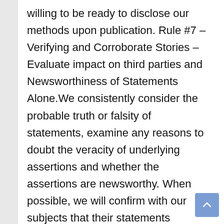willing to be ready to disclose our methods upon publication. Rule #7 – Verifying and Corroborate Stories – Evaluate impact on third parties and Newsworthiness of Statements Alone.We consistently consider the probable truth or falsity of statements, examine any reasons to doubt the veracity of underlying assertions and whether the assertions are newsworthy. When possible, we will confirm with our subjects that their statements captured on video are accurate & truthful. At the very least, we will give our subjects an opportunity to elaborate and/or respond. In all matters, we rely on the 1st Amendment to protect our ability to publish newsworthy items after our internal deliberations. On whether there is an obligation to ensure the veracity of statements made on